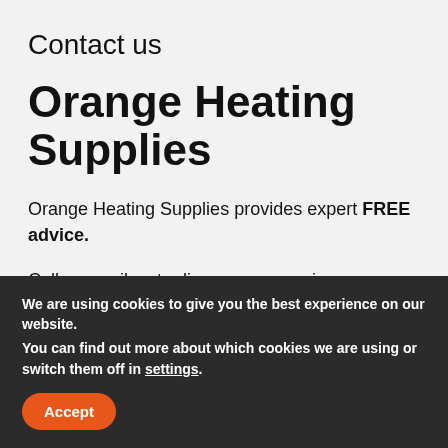Contact us
Orange Heating Supplies
Orange Heating Supplies provides expert FREE advice.
Call or email us to discuss any queries you may have, we are happy to help you by providing advice and guidance to ensure you have the right parts for the job.
We are using cookies to give you the best experience on our website.
You can find out more about which cookies we are using or switch them off in settings.
Accept